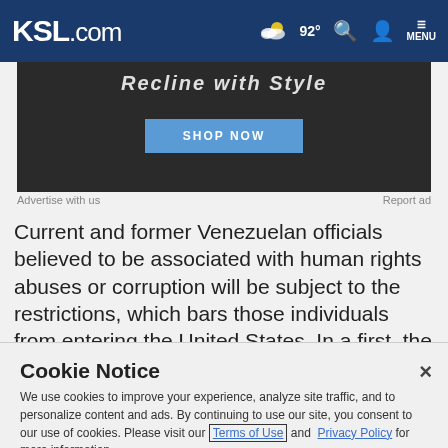KSL.com  92°  MENU
[Figure (photo): Advertisement banner showing a dark background with partial text 'Recline with Style' and a blue 'SHOP NOW' button]
Advertise with us
Report ad
Current and former Venezuelan officials believed to be associated with human rights abuses or corruption will be subject to the restrictions, which bars those individuals from entering the United States. In a first, the U.S. said its ban would also apply to the individuals' immediate family
Cookie Notice
We use cookies to improve your experience, analyze site traffic, and to personalize content and ads. By continuing to use our site, you consent to our use of cookies. Please visit our Terms of Use and Privacy Policy for more information.
Continue